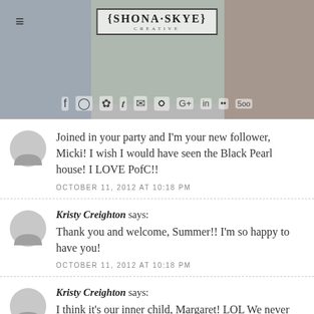[Figure (screenshot): Blog website header with logo 'Shona Skye' and social media icons (Facebook, Instagram, Snapchat, Twitter, Email, Pinterest, Google+, LinkedIn, Flickr, 500px) over a collage of photos]
Joined in your party and I'm your new follower, Micki! I wish I would have seen the Black Pearl house! I LOVE PofC!!
OCTOBER 11, 2012 AT 10:18 PM
Kristy Creighton says: Thank you and welcome, Summer!! I'm so happy to have you!
OCTOBER 11, 2012 AT 10:18 PM
Kristy Creighton says: I think it's our inner child, Margaret! LOL We never grow up! Thank you for coming by!